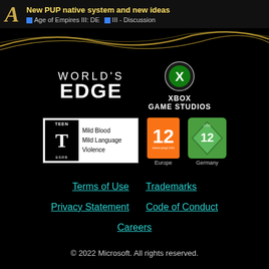New PUP native system and new ideas | Age of Empires III: DE | III - Discussion
[Figure (logo): World's Edge logo text]
[Figure (logo): Xbox Game Studios logo]
[Figure (logo): ESRB Teen rating: Mild Blood, Mild Language, Violence]
[Figure (logo): PEGI 12 Europe rating]
[Figure (logo): USK 12 Germany rating]
Terms of Use
Trademarks
Privacy Statement
Code of Conduct
Careers
© 2022 Microsoft. All rights reserved.